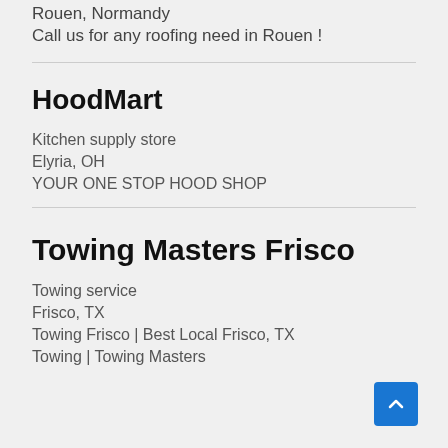Rouen, Normandy
Call us for any roofing need in Rouen !
HoodMart
Kitchen supply store
Elyria, OH
YOUR ONE STOP HOOD SHOP
Towing Masters Frisco
Towing service
Frisco, TX
Towing Frisco | Best Local Frisco, TX Towing | Towing Masters